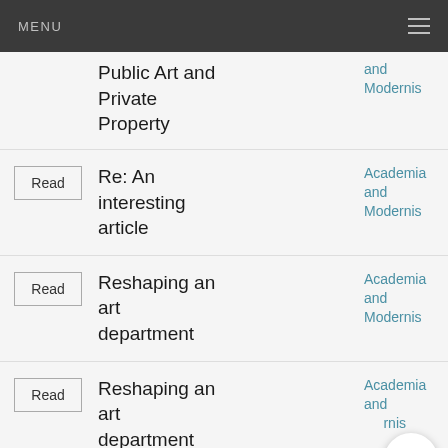MENU
Public Art and Private Property — Academia and Modernism
Re: An interesting article — Academia and Modernism
Reshaping an art department — Academia and Modernism
Reshaping an art department — Academia and Modernism
Reshaping an — Academia and